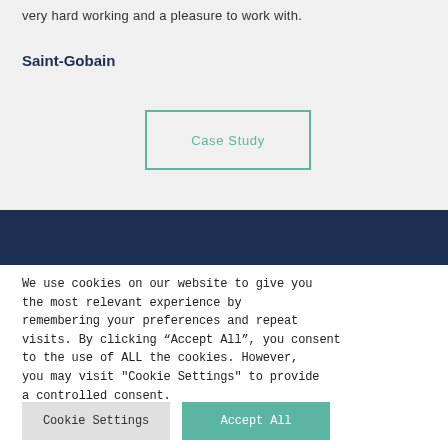very hard working and a pleasure to work with.
Saint-Gobain
[Figure (other): Case Study button with teal border]
We use cookies on our website to give you the most relevant experience by remembering your preferences and repeat visits. By clicking “Accept All”, you consent to the use of ALL the cookies. However, you may visit "Cookie Settings" to provide a controlled consent.
Cookie Settings
Accept All